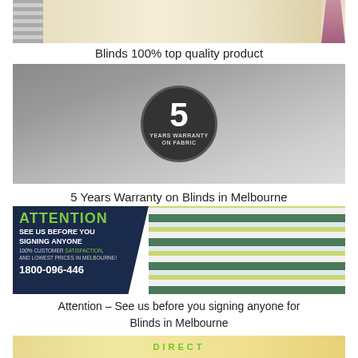[Figure (photo): Interior room photo showing roller blinds or sheer curtains with a vase of flowers]
Blinds 100% top quality product
[Figure (photo): Interior living room with roller blinds and a circular badge reading '5 YEARS WARRANTY ON FABRIC']
5 Years Warranty on Blinds in Melbourne
[Figure (photo): Promotional banner with dark background reading ATTENTION, SEE US BEFORE YOU SIGNING ANYONE, 100% CUSTOMER SATISFACTION, AND LOWEST PRICES IN MELBOURNE!, 1800-096-446, alongside zebra blinds]
Attention – See us before you signing anyone for Blinds in Melbourne
[Figure (logo): Bottom partial image showing yellow vertical blinds and green Direct Blinds logo text]